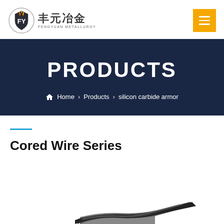丰元冶金 FENGYUAN METALLURGY — logo and navigation header
PRODUCTS
Home > Products > silicon carbide armor
Cored Wire Series
[Figure (photo): Partial view of a cored wire product at the bottom of the page]